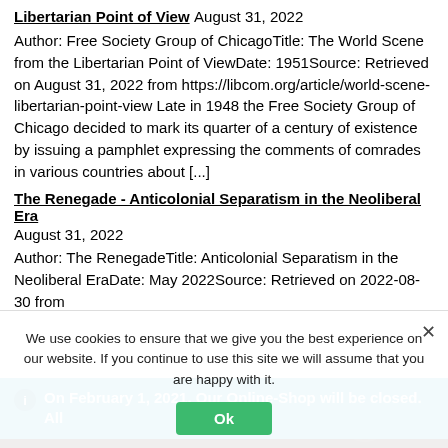Libertarian Point of View August 31, 2022
Author: Free Society Group of ChicagoTitle: The World Scene from the Libertarian Point of ViewDate: 1951Source: Retrieved on August 31, 2022 from https://libcom.org/article/world-scene-libertarian-point-view Late in 1948 the Free Society Group of Chicago decided to mark its quarter of a century of existence by issuing a pamphlet expressing the comments of comrades in various countries about [...]
The Renegade - Anticolonial Separatism in the Neoliberal Era August 31, 2022
Author: The RenegadeTitle: Anticolonial Separatism in the Neoliberal EraDate: May 2022Source: Retrieved on 2022-08-30 from
On February 1, 2021, Our Online-Shop will be closed. All orders until January 31 will be delivered
Dismiss
We use cookies to ensure that we give you the best experience on our website. If you continue to use this site we will assume that you are happy with it.
Ok